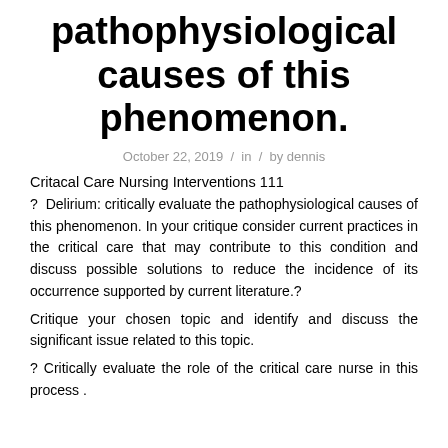pathophysiological causes of this phenomenon.
October 22, 2019 / in / by dennis
Critacal Care Nursing Interventions 111
? Delirium: critically evaluate the pathophysiological causes of this phenomenon. In your critique consider current practices in the critical care that may contribute to this condition and discuss possible solutions to reduce the incidence of its occurrence supported by current literature.?
Critique your chosen topic and identify and discuss the significant issue related to this topic.
? Critically evaluate the role of the critical care nurse in this process .